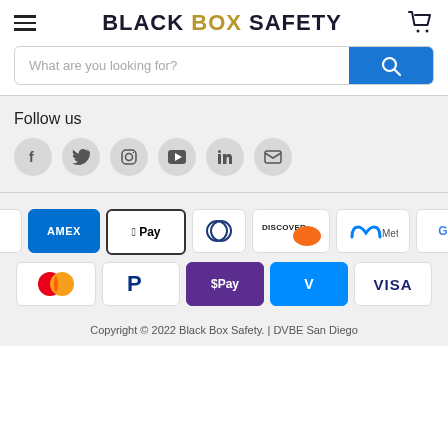BLACK BOX SAFETY
[Figure (screenshot): Search bar with placeholder 'What are you looking for?' and blue search button]
Follow us
[Figure (infographic): Social media icons: Facebook, Twitter, Instagram, YouTube, LinkedIn, Email]
[Figure (infographic): Payment method icons: Amazon, Amex, Apple Pay, Diners Club, Discover, Meta Pay, Google Pay, Mastercard, PayPal, OPay, Venmo, Visa]
Copyright © 2022 Black Box Safety. | DVBE San Diego